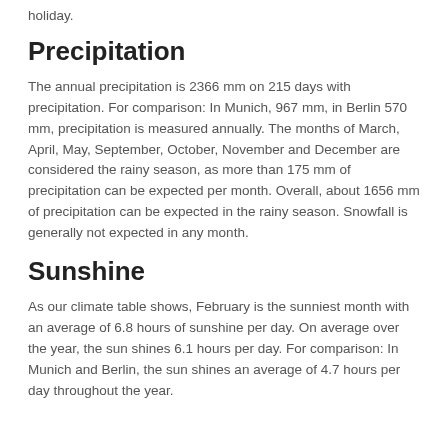holiday.
Precipitation
The annual precipitation is 2366 mm on 215 days with precipitation. For comparison: In Munich, 967 mm, in Berlin 570 mm, precipitation is measured annually. The months of March, April, May, September, October, November and December are considered the rainy season, as more than 175 mm of precipitation can be expected per month. Overall, about 1656 mm of precipitation can be expected in the rainy season. Snowfall is generally not expected in any month.
Sunshine
As our climate table shows, February is the sunniest month with an average of 6.8 hours of sunshine per day. On average over the year, the sun shines 6.1 hours per day. For comparison: In Munich and Berlin, the sun shines an average of 4.7 hours per day throughout the year.